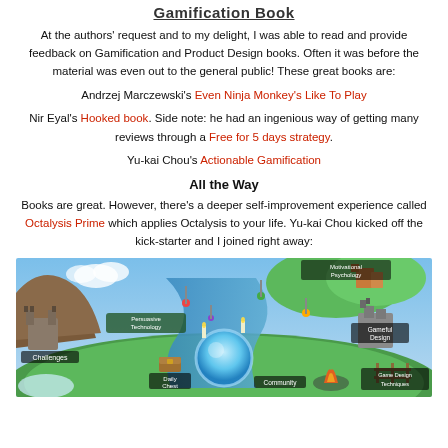Gamification Book
At the authors' request and to my delight, I was able to read and provide feedback on Gamification and Product Design books. Often it was before the material was even out to the general public! These great books are:
Andrzej Marczewski's Even Ninja Monkey's Like To Play
Nir Eyal's Hooked book. Side note: he had an ingenious way of getting many reviews through a Free for 5 days strategy.
Yu-kai Chou's Actionable Gamification
All the Way
Books are great. However, there's a deeper self-improvement experience called Octalysis Prime which applies Octalysis to your life. Yu-kai Chou kicked off the kick-starter and I joined right away:
[Figure (illustration): Fantasy game map showing various labeled regions including Motivational Psychology, Persuasive Technology, Gameful Design, Challenges, Daily Chest, Community, Game Design Techniques, with a glowing orb in the center.]